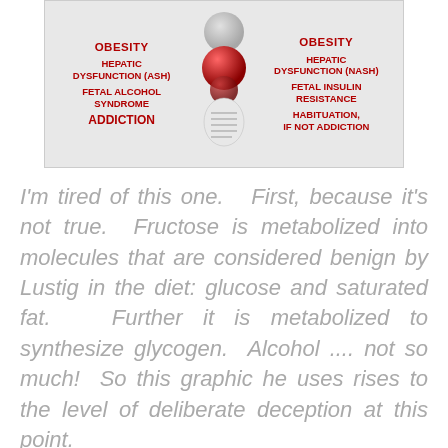[Figure (infographic): Side-by-side comparison infographic showing ALCOHOL (left) vs SUGAR (right) with molecular imagery in center. Left column lists: OBESITY, HEPATIC DYSFUNCTION (ASH), FETAL ALCOHOL SYNDROME, ADDICTION. Right column lists: OBESITY, HEPATIC DYSFUNCTION (NASH), FETAL INSULIN RESISTANCE, HABITUATION, IF NOT ADDICTION.]
I'm tired of this one.   First, because it's not true.  Fructose is metabolized into molecules that are considered benign by Lustig in the diet: glucose and saturated fat.   Further it is metabolized to synthesize glycogen.  Alcohol .... not so much!  So this graphic he uses rises to the level of deliberate deception at this point.